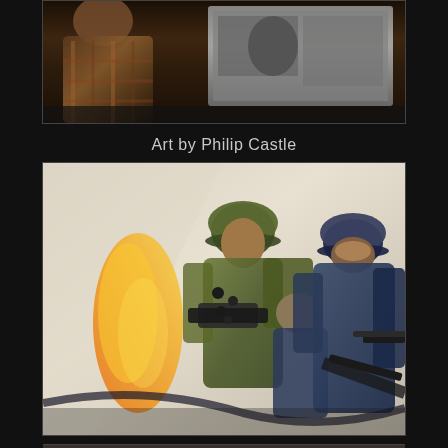[Figure (photo): Partial photo at top showing a person in a plaid shirt in a dimly lit room with a projection screen visible in the background]
Art by Philip Castle
[Figure (photo): Painting by Philip Castle depicting soldiers in military gear, wearing helmets, appearing to carry or drag a figure, in dramatic wartime scene with dark blue and green tones]
[Figure (photo): Partial photo at the bottom of the page, cropped, showing what appears to be a framed artwork or display]